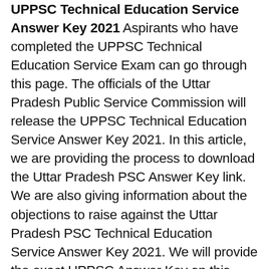UPPSC Technical Education Service Answer Key 2021 Aspirants who have completed the UPPSC Technical Education Service Exam can go through this page. The officials of the Uttar Pradesh Public Service Commission will release the UPPSC Technical Education Service Answer Key 2021. In this article, we are providing the process to download the Uttar Pradesh PSC Answer Key link. We are also giving information about the objections to raise against the Uttar Pradesh PSC Technical Education Service Answer Key 2021. We will provide the exact UPPSC Answer Key on this page once the officials make it out.